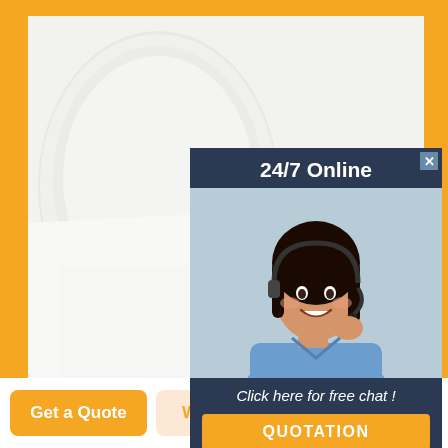[Figure (photo): Product photo showing rolled white sheer fabric/blinds material with a wooden roller mechanism, set against an orange-bordered background]
[Figure (infographic): Chat widget overlay showing '24/7 Online' header, a customer service representative woman with headset smiling, and a 'Click here for free chat!' message with orange QUOTATION button. Has a close X button in top right.]
Blindsgalore® Banded Sheer Shades | Blindsgalore
Get a Quote
WhatsApp
Chat Now